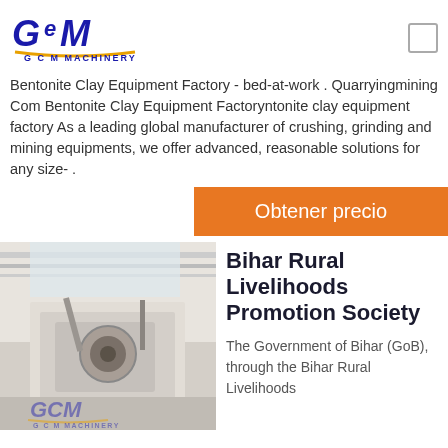[Figure (logo): GCM Machinery logo with gold arc underline]
Bentonite Clay Equipment Factory - bed-at-work . Quarryingmining Com Bentonite Clay Equipment Factoryntonite clay equipment factory As a leading global manufacturer of crushing, grinding and mining equipments, we offer advanced, reasonable solutions for any size- .
Obtener precio
[Figure (photo): Industrial machinery inside a factory building with GCM Machinery logo watermark]
Bihar Rural Livelihoods Promotion Society
The Government of Bihar (GoB), through the Bihar Rural Livelihoods